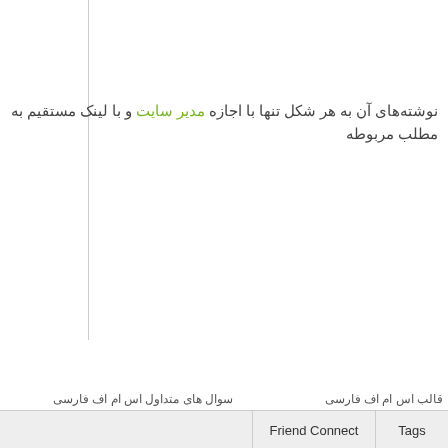نوشته‌های آن به هر شکل تنها با اجازه مدیر سایت و با لینک مستقیم به مطلب مربوطه
قالب اس ام اف فارسی
مدیریت اس ام اف فارسی
سوال های متداول اس ام اف فارسی
بهینه سازی سایت SEO
مفاهیم پایه
گوگل
لینوکس
نکات و ترفندها
معرفی افزونه های جوملا 1.5
قوانین انجمن پشتیبانی
انجمن پشتیبانی جوملا فارسی
انجمن پشتیبانی مامبو فارسی
انجمن پشتیبانی اس ام اف فارسی
سوال های متداول جوملا فارسی
سوال های متداول مامبو فارسی
|  | Friend Connect | Tags |
| --- | --- | --- |
|  |